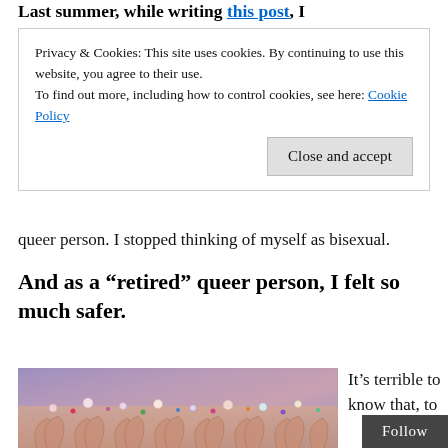Last summer, while writing this post, I
Privacy & Cookies: This site uses cookies. By continuing to use this website, you agree to their use.
To find out more, including how to control cookies, see here: Cookie Policy
Close and accept
queer person. I stopped thinking of myself as bisexual.
And as a “retired” queer person, I felt so much safer.
[Figure (photo): Close-up photo of decorative lace fabric with beads and jewels on a purple/blue background. The lace features intricate fan/peacock feather patterns in rose-gold color adorned with multicolored beads.]
It’s terrible to know that, to
Follow